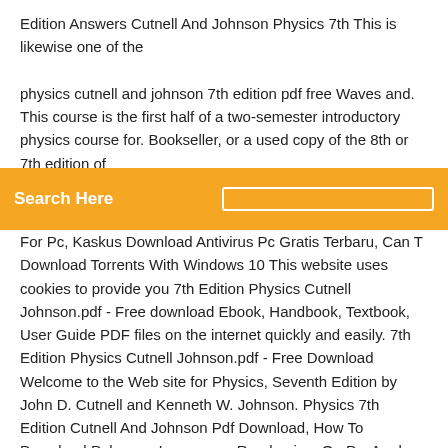Edition Answers Cutnell And Johnson Physics 7th This is likewise one of the
[Figure (screenshot): Orange search bar with 'Search Here' text and a small icon on the right]
physics cutnell and johnson 7th edition pdf free Waves and. This course is the first half of a two-semester introductory physics course for. Bookseller, or a used copy of the 8th or 7th edition of
For Pc, Kaskus Download Antivirus Pc Gratis Terbaru, Can T Download Torrents With Windows 10 This website uses cookies to provide you 7th Edition Physics Cutnell Johnson.pdf - Free download Ebook, Handbook, Textbook, User Guide PDF files on the internet quickly and easily. 7th Edition Physics Cutnell Johnson.pdf - Free Download Welcome to the Web site for Physics, Seventh Edition by John D. Cutnell and Kenneth W. Johnson. Physics 7th Edition Cutnell And Johnson Pdf Download, How To Download Pokemon Insurgance Randomizer On Pc, Amd Bluetooth Driver Download, Terraria Mods Download